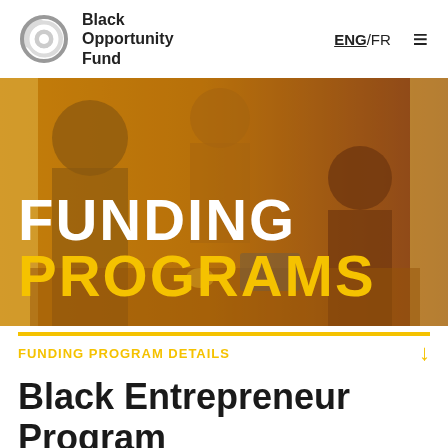Black Opportunity Fund | ENG/FR
[Figure (photo): Hero banner image showing people in a meeting with a golden/amber color overlay. Large white text reads 'FUNDING' and golden text reads 'PROGRAMS'.]
FUNDING PROGRAM DETAILS
Black Entrepreneur Program